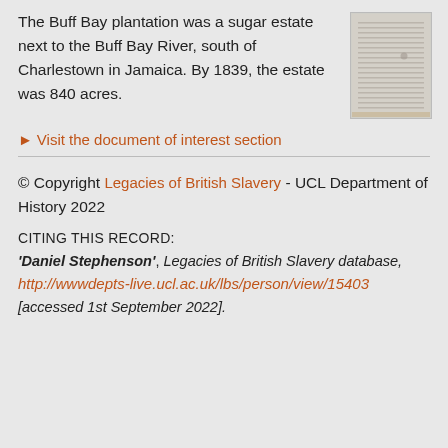The Buff Bay plantation was a sugar estate next to the Buff Bay River, south of Charlestown in Jamaica. By 1839, the estate was 840 acres.
[Figure (photo): Thumbnail of a historical document with handwritten lines, light beige/grey in colour]
▸ Visit the document of interest section
© Copyright Legacies of British Slavery - UCL Department of History 2022
CITING THIS RECORD:
'Daniel Stephenson', Legacies of British Slavery database, http://wwwdepts-live.ucl.ac.uk/lbs/person/view/15403 [accessed 1st September 2022].